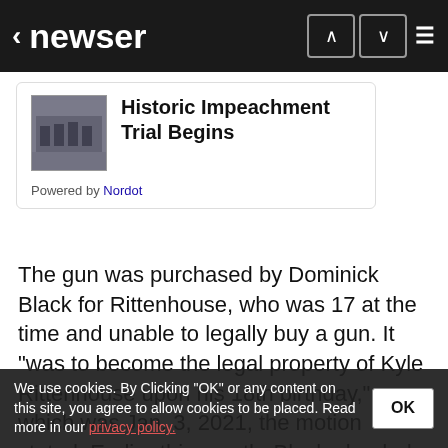< newser
[Figure (screenshot): Thumbnail image of people in a legislative chamber, related to impeachment trial]
Historic Impeachment Trial Begins
Powered by Nordot
The gun was purchased by Dominick Black for Rittenhouse, who was 17 at the time and unable to legally buy a gun. It "was to become the legal property of Kyle Rittenhouse upon his 18th birthday," which was Jan. 3, 2021, the motion stated. Earlier this month, Black pleaded guilty to two citations for contributing to the delinquency of a minor in exchange for prosecutors dropping two felony charges of intent to sell a dangerous weapon to a person younger than 18. According to court documents, Rittenhouse also wants to retrieve
We use cookies. By Clicking "OK" or any content on this site, you agree to allow cookies to be placed. Read more in our privacy policy.